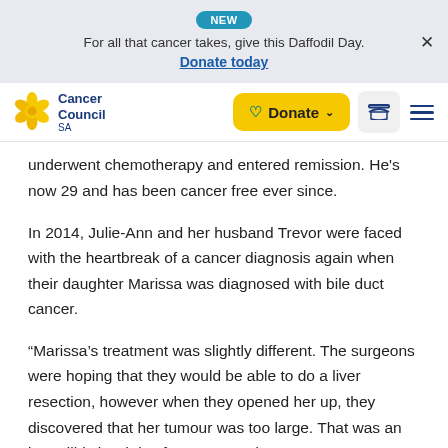NEW — For all that cancer takes, give this Daffodil Day. Donate today
[Figure (logo): Cancer Council SA logo with yellow daffodil flower icon]
underwent chemotherapy and entered remission. He's now 29 and has been cancer free ever since.
In 2014, Julie-Ann and her husband Trevor were faced with the heartbreak of a cancer diagnosis again when their daughter Marissa was diagnosed with bile duct cancer.
“Marissa’s treatment was slightly different. The surgeons were hoping that they would be able to do a liver resection, however when they opened her up, they discovered that her tumour was too large. That was an incredibly hard day for Trevor and me. We